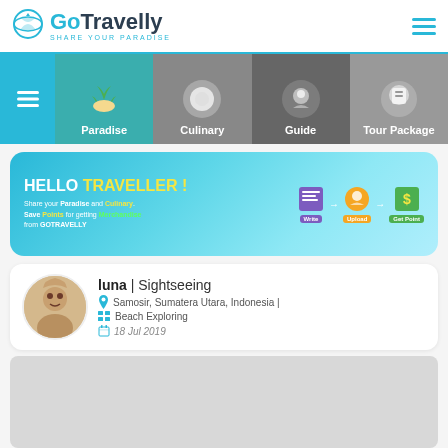GoTravelly - Share Your Paradise
[Figure (screenshot): Navigation menu with Paradise, Culinary, Guide, Tour Package categories]
[Figure (infographic): Banner: HELLO TRAVELLER! Share your Paradise and Culinary. Save Points for getting Merchandise from GOTRAVELLY. Steps: Write, Upload, Get Point]
luna | Sightseeing
Samosir, Sumatera Utara, Indonesia |
Beach Exploring
18 Jul 2019
[Figure (photo): Gray placeholder image area]